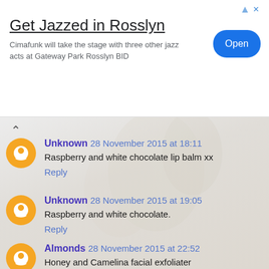[Figure (screenshot): Advertisement banner: 'Get Jazzed in Rosslyn' with text 'Cimafunk will take the stage with three other jazz acts at Gateway Park Rosslyn BID' and an 'Open' button]
Unknown 28 November 2015 at 18:11
Raspberry and white chocolate lip balm xx
Reply
Unknown 28 November 2015 at 19:05
Raspberry and white chocolate.
Reply
Almonds 28 November 2015 at 22:52
Honey and Camelina facial exfoliater
Reply